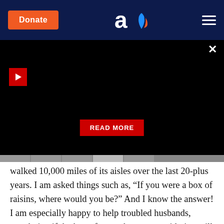Donate | [logo] | menu
[Figure (screenshot): Black video player panel with a red play button in the top-left, a close X button in the top-right, and a red READ MORE button centered near the bottom. A tab navigation strip appears at the bottom of the panel.]
walked 10,000 miles of its aisles over the last 20-plus years. I am asked things such as, “If you were a box of raisins, where would you be?” And I know the answer! I am especially happy to help troubled husbands, wondering if the box of pasta they are considering will meet their wives’ expectations, since their wives stopped answering their phones five calls ago. I give these husbands my calm assurance that their choices in pasta are sound. I also give them my cell number in